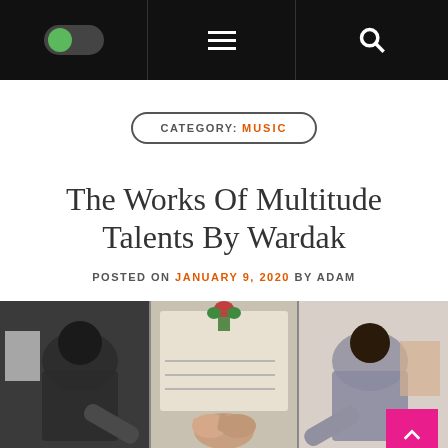Navigation header with toggle, menu, and search
CATEGORY: MUSIC
The Works Of Multitude Talents By Wardak
POSTED ON JANUARY 9, 2020 BY ADAM
[Figure (photo): Three-panel image of business people shaking hands and celebrating]